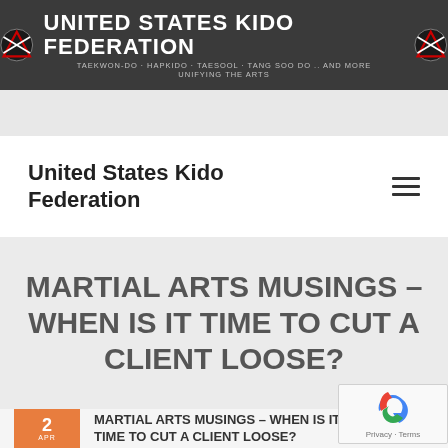[Figure (logo): United States Kido Federation banner with logo, title, and subtitle text on dark background]
UNITED STATES KIDO FEDERATION
TAEKWON-DO · HAPKIDO · TAESOOL · TANG SOO DO .. AND MORE
UNIFYING THE ARTS
Search
United States Kido Federation
MARTIAL ARTS MUSINGS – WHEN IS IT TIME TO CUT A CLIENT LOOSE?
2
MARTIAL ARTS MUSINGS – WHEN IS IT TIME TO CUT A CLIENT LOOSE?